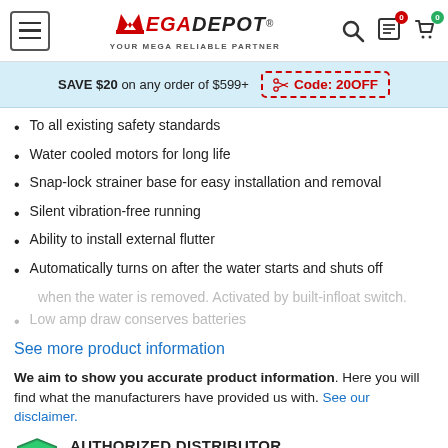MEGADEPOT® YOUR MEGA RELIABLE PARTNER
SAVE $20 on any order of $599+ Code: 20OFF
To all existing safety standards
Water cooled motors for long life
Snap-lock strainer base for easy installation and removal
Silent vibration-free running
Ability to install external flutter
Automatically turns on after the water starts and shuts off
when the water is removed. Activated by built-infloat switch.
Low amp draw conserves batteries
See more product information
We aim to show you accurate product information. Here you will find what the manufacturers have provided us with. See our disclaimer.
AUTHORIZED DISTRIBUTOR Why it's important?